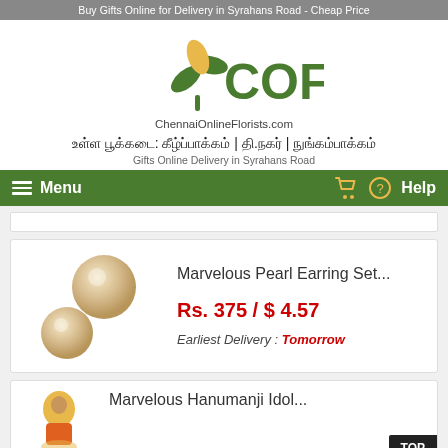Buy Gifts Online for Delivery in Syrahans Road - Cheap Price
[Figure (logo): COF ChennaiOnlineFlorists.com logo with green flower/leaf icon and green COF text]
உள்ள பூக்கடை: கீழ்ப்பாக்கம் | தி.நகர் | நுங்கம்பாக்கம்
Gifts Online Delivery in Syrahans Road
Menu   Help
Marvelous Pearl Earring Set...
Rs. 375 / $ 4.57
Earliest Delivery : Tomorrow
Marvelous Hanumanji Idol...